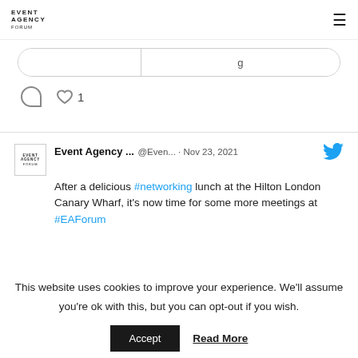EVENT AGENCY FORUM
[Figure (screenshot): Partial tweet card with input row and like icon showing 1 like]
[Figure (screenshot): Tweet from Event Agency Forum @Even... Nov 23, 2021 - After a delicious #networking lunch at the Hilton London Canary Wharf, it's now time for some more meetings at #EAForum]
MORE INFO
This website uses cookies to improve your experience. We'll assume you're ok with this, but you can opt-out if you wish.
Accept  Read More